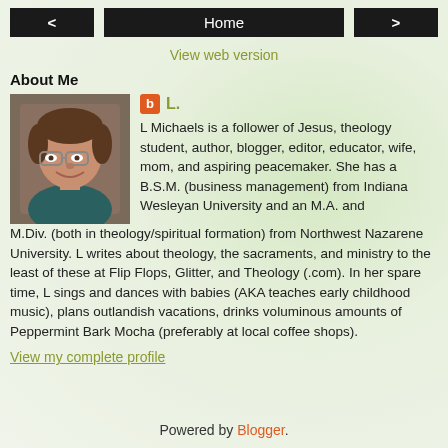< Home >
View web version
About Me
[Figure (photo): Profile photo of L Michaels, a woman with glasses and short curly hair, smiling.]
L. L Michaels is a follower of Jesus, theology student, author, blogger, editor, educator, wife, mom, and aspiring peacemaker. She has a B.S.M. (business management) from Indiana Wesleyan University and an M.A. and M.Div. (both in theology/spiritual formation) from Northwest Nazarene University. L writes about theology, the sacraments, and ministry to the least of these at Flip Flops, Glitter, and Theology (.com). In her spare time, L sings and dances with babies (AKA teaches early childhood music), plans outlandish vacations, drinks voluminous amounts of Peppermint Bark Mocha (preferably at local coffee shops).
View my complete profile
Powered by Blogger.